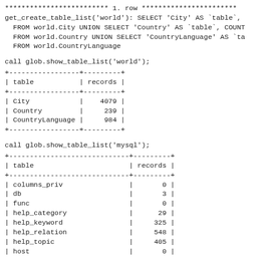************************* 1. row ***********************
get_create_table_list('world'): SELECT 'City' AS `table`,
  FROM world.City UNION SELECT 'Country' AS `table`, COUNT
  FROM world.Country UNION SELECT 'CountryLanguage' AS `ta
  FROM world.CountryLanguage
call glob.show_table_list('world');
| table | records |
| --- | --- |
| City | 4079 |
| Country | 239 |
| CountryLanguage | 984 |
call glob.show_table_list('mysql');
| table | records |
| --- | --- |
| columns_priv | 0 |
| db | 3 |
| func | 0 |
| help_category | 29 |
| help_keyword | 325 |
| help_relation | 548 |
| help_topic | 405 |
| host | 0 |